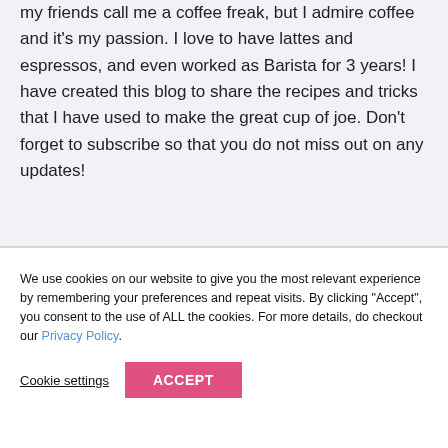Hi there! My name is Ananna Ross. Some of my friends call me a coffee freak, but I admire coffee and it's my passion. I love to have lattes and espressos, and even worked as Barista for 3 years! I have created this blog to share the recipes and tricks that I have used to make the great cup of joe. Don't forget to subscribe so that you do not miss out on any updates!
We use cookies on our website to give you the most relevant experience by remembering your preferences and repeat visits. By clicking "Accept", you consent to the use of ALL the cookies. For more details, do checkout our Privacy Policy.